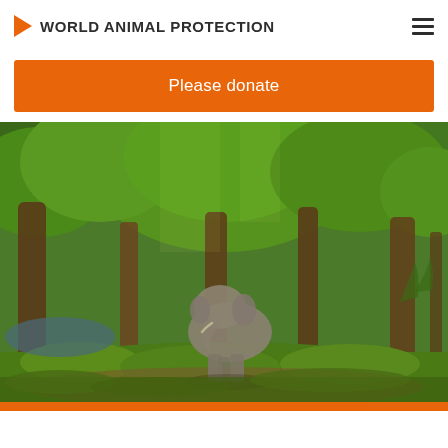WORLD ANIMAL PROTECTION
Please donate
[Figure (photo): An elephant standing in a lush green forested area with trees and grass, photographed from a distance. Natural outdoor setting with dappled light filtering through tree canopies.]